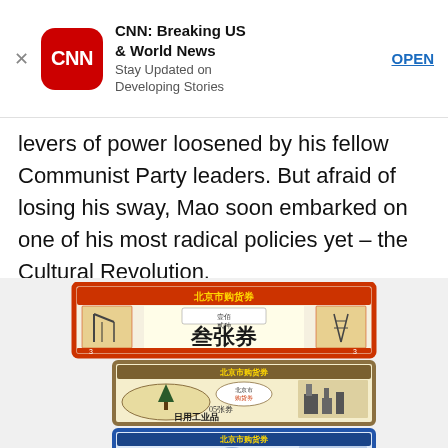[Figure (screenshot): CNN Breaking US & World News app advertisement banner with CNN logo, app name, tagline 'Stay Updated on Developing Stories', and OPEN button]
levers of power loosened by his fellow Communist Party leaders. But afraid of losing his sway, Mao soon embarked on one of his most radical policies yet – the Cultural Revolution.
[Figure (photo): Three Chinese ration coupons/tickets from Beijing: a red one with Chinese characters reading 北京市购货券 and 叁张券, a gold/brown one reading 北京市购货券 日用工业品 05张券, and a blue one reading 北京市购货券 日用工业品 0.1张券]